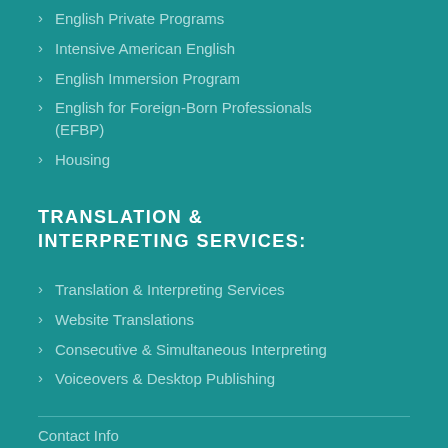English Private Programs
Intensive American English
English Immersion Program
English for Foreign-Born Professionals (EFBP)
Housing
TRANSLATION & INTERPRETING SERVICES:
Translation & Interpreting Services
Website Translations
Consecutive & Simultaneous Interpreting
Voiceovers & Desktop Publishing
Contact Info